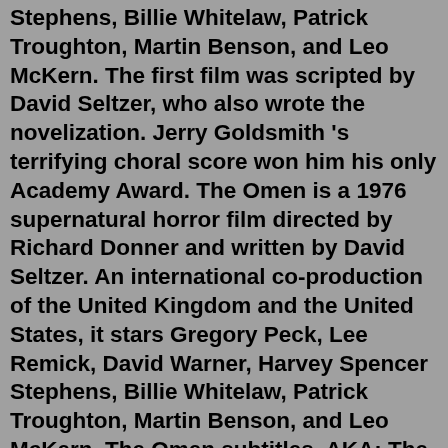Stephens, Billie Whitelaw, Patrick Troughton, Martin Benson, and Leo McKern. The first film was scripted by David Seltzer, who also wrote the novelization. Jerry Goldsmith 's terrifying choral score won him his only Academy Award. The Omen is a 1976 supernatural horror film directed by Richard Donner and written by David Seltzer. An international co-production of the United Kingdom and the United States, it stars Gregory Peck, Lee Remick, David Warner, Harvey Spencer Stephens, Billie Whitelaw, Patrick Troughton, Martin Benson, and Leo McKern. The Omen subtitles. AKA: The Omen 1976, Omen I: The Birthmark, Omen I, The Antichrist, The Birthmark. It is the greatest mystery of all because no human being will ever solve it.. Immediately after their miscarriage, the US diplomat Robert Thorn adopts the newborn Damien without the knowledge of his wife. Yet what he doesn't know is that their new son is the son of the devil.2 days ago · The HP Omen 45L has the Nvidia GeForce RTX 3080 with 10GB of VRAM, so it's truly an impressively fast system. It's